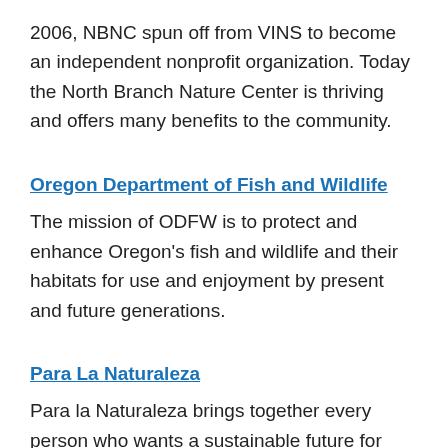2006, NBNC spun off from VINS to become an independent nonprofit organization. Today the North Branch Nature Center is thriving and offers many benefits to the community.
Oregon Department of Fish and Wildlife
The mission of ODFW is to protect and enhance Oregon's fish and wildlife and their habitats for use and enjoyment by present and future generations.
Para La Naturaleza
Para la Naturaleza brings together every person who wants a sustainable future for Puerto Rico, where our children can grow up in habitable cities, swim in the crystal-clear waters of our rivers and feed themselves off the land.